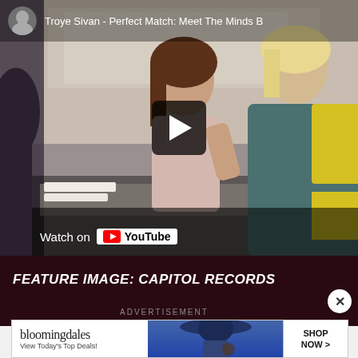[Figure (screenshot): YouTube video thumbnail showing Troye Sivan - Perfect Match: Meet The Minds B[ehind]. Two people sitting at a table in conversation, one with dark hair in a pink top, one with blonde hair in a teal and yellow jacket. A play button overlay is visible in the center. A 'Watch on YouTube' badge appears at the bottom left. A small channel avatar appears in the top left corner.]
FEATURE IMAGE: CAPITOL RECORDS
ADVERTISEMENT
[Figure (screenshot): Bloomingdales advertisement banner. Shows the bloomingdales logo, tagline 'View Today's Top Deals!', an image of a woman in a wide-brim hat, and a 'SHOP NOW >' button.]